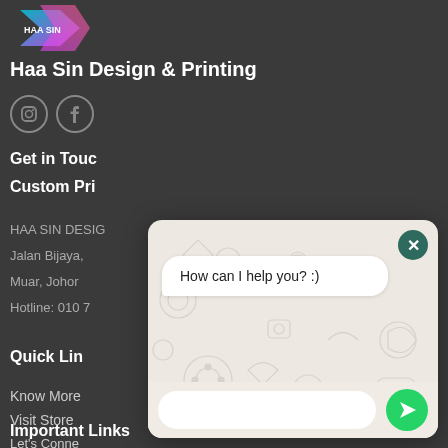[Figure (logo): Haa Sin Design & Printing logo with colorful ribbon/arrow motif]
Haa Sin Design & Printing
[Figure (illustration): Instagram and Facebook social media icons in circular outlines]
Get in Touch
Custom Pri
HAA SIN DESIG
Jalan Bijaya,
Muar, Johor
Hotline: 010 7
Quick Lin
Know More
Visit Store
Let's Conne
[Figure (screenshot): WhatsApp chat popup overlay with message 'How can I help you? :)' and a green send button, on a decorative beige background]
Important Links